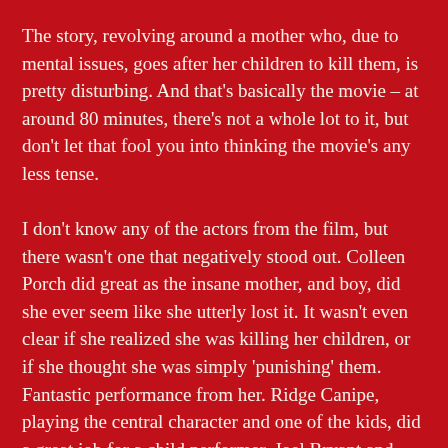The story, revolving around a mother who, due to mental issues, goes after her children to kill them, is pretty disturbing. And that’s basically the movie – at around 80 minutes, there’s not a whole lot to it, but don’t let that fool you into thinking the movie’s any less tense.
I don’t know any of the actors from the film, but there wasn’t one that negatively stood out. Colleen Porch did great as the insane mother, and boy, did she ever seem like she utterly lost it. It wasn't even clear if she realized she was killing her children, or if she thought she was simply ‘punishing’ them. Fantastic performance from her. Ridge Canipe, playing the central character and one of the kids, did a great job for a child performer. Joel Bryant and